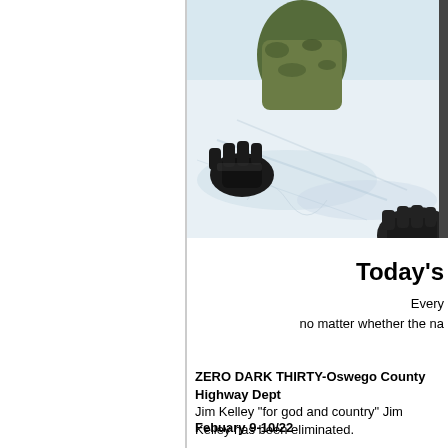[Figure (photo): Person in camouflage gear kneeling in snow with black gloves visible, viewed from above. Snow scene with shadows and tracks.]
Today's
Every
no matter whether the na
ZERO DARK THIRTY-Oswego County Highway Dept
Jim Kelley "for god and country" Jim Kelley has been eliminated.
Febuary 9-10/22